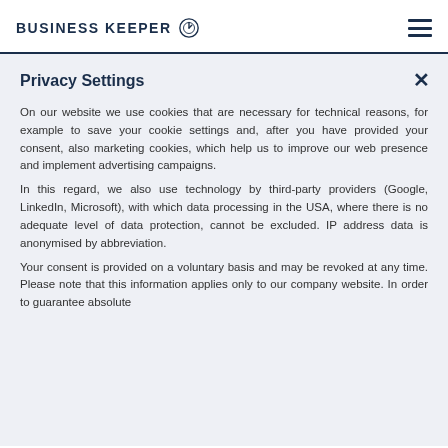BUSINESS KEEPER
Privacy Settings
On our website we use cookies that are necessary for technical reasons, for example to save your cookie settings and, after you have provided your consent, also marketing cookies, which help us to improve our web presence and implement advertising campaigns.
In this regard, we also use technology by third-party providers (Google, LinkedIn, Microsoft), with which data processing in the USA, where there is no adequate level of data protection, cannot be excluded. IP address data is anonymised by abbreviation.
Your consent is provided on a voluntary basis and may be revoked at any time. Please note that this information applies only to our company website. In order to guarantee absolute